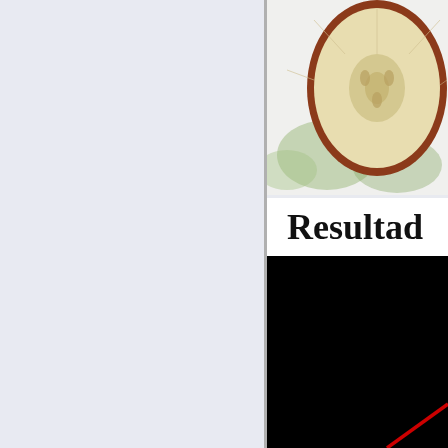[Figure (photo): Left panel with light blue-grey background, taking up approximately the left 59% of the page]
[Figure (photo): Cross-section of a sliced apple (or similar fruit) showing interior flesh and core, photographed from above on a white/light background, cropped at right edge]
Resultad
[Figure (photo): Largely black/dark image area occupying the lower right portion of the page, with a red diagonal line visible at bottom-right corner]